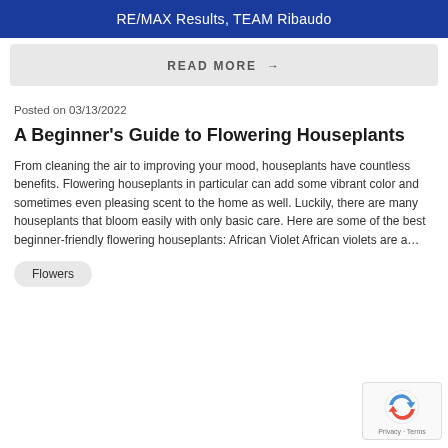RE/MAX Results, TEAM Ribaudo
READ MORE →
Posted on 03/13/2022
A Beginner's Guide to Flowering Houseplants
From cleaning the air to improving your mood, houseplants have countless benefits. Flowering houseplants in particular can add some vibrant color and sometimes even pleasing scent to the home as well. Luckily, there are many houseplants that bloom easily with only basic care. Here are some of the best beginner-friendly flowering houseplants: African Violet African violets are a…
Flowers